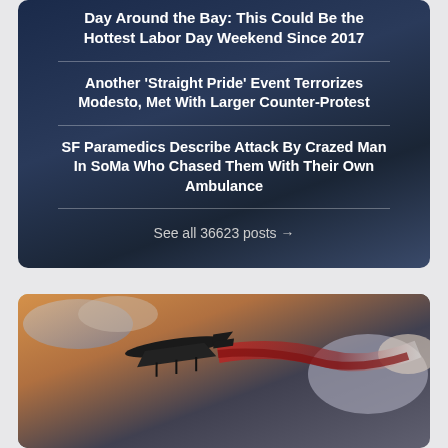Day Around the Bay: This Could Be the Hottest Labor Day Weekend Since 2017
Another 'Straight Pride' Event Terrorizes Modesto, Met With Larger Counter-Protest
SF Paramedics Describe Attack By Crazed Man In SoMa Who Chased Them With Their Own Ambulance
See all 36623 posts →
[Figure (photo): A military-style cargo plane silhouetted against a dramatic sky, with a red smoke trail behind it, suggesting a firefighting aircraft dropping retardant]